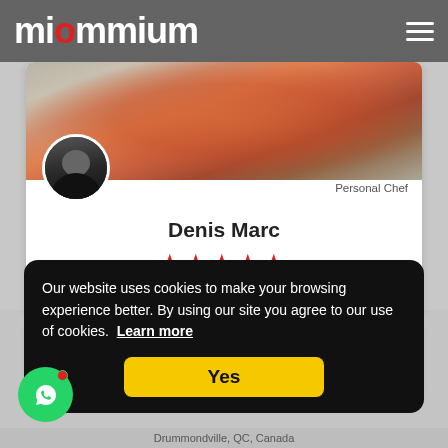Montréal, QC, Canada
[Figure (screenshot): miommium website header with logo and hamburger menu on gray background]
[Figure (photo): Chef Denis Marc profile card with food banner photo, circular avatar of bald man in black chef jacket, 5 red stars, location Montréal QC Canada, Personal Chef label]
Our website uses cookies to make your browsing experience better. By using our site you agree to our use of cookies.  Learn more
Yes
Drummondville, QC, Canada